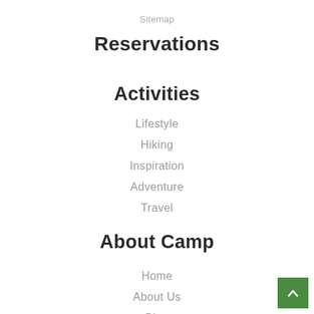Sitemap
Reservations
Activities
Lifestyle
Hiking
Inspiration
Adventure
Travel
About Camp
Home
About Us
Blog
Privacy Policy